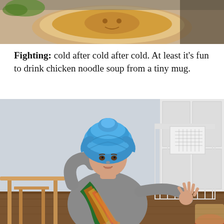[Figure (photo): Top portion of a photo showing a bowl of soup or food on a table, cropped at the bottom]
Fighting: cold after cold after cold. At least it’s fun to drink chicken noodle soup from a tiny mug.
[Figure (photo): A young child wearing a blue fabric turban and colorful tie-dye sash/scarf draped over shoulders, posing with one hand behind head and other hand gesturing outward, in a home interior setting with a white baby gate and wooden table visible in background]